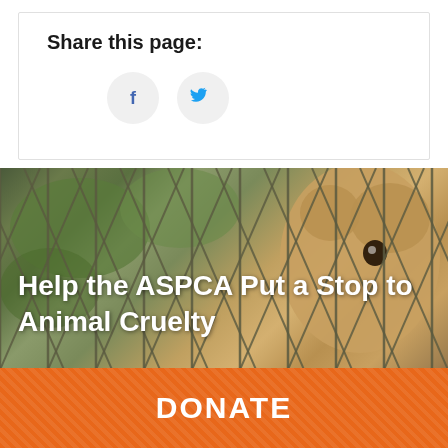Share this page:
[Figure (illustration): Two social sharing buttons: Facebook (f) and Twitter (bird icon) as circular grey buttons]
[Figure (photo): A puppy looking through a chain-link fence with text overlay 'Help the ASPCA Put a Stop to Animal Cruelty' and an orange DONATE button below]
Help the ASPCA Put a Stop to Animal Cruelty
DONATE